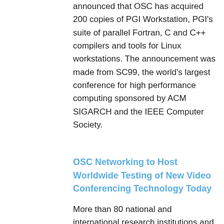announced that OSC has acquired 200 copies of PGI Workstation, PGI's suite of parallel Fortran, C and C++ compilers and tools for Linux workstations. The announcement was made from SC99, the world's largest conference for high performance computing sponsored by ACM SIGARCH and the IEEE Computer Society.
OSC Networking to Host Worldwide Testing of New Video Conferencing Technology Today
More than 80 national and international research institutions and networking organizations are participating in Megaconference, the world's largest H.323 Internet video conference, being held today in Seattle. Megaconference runs in conjunction with the Fall Internet2